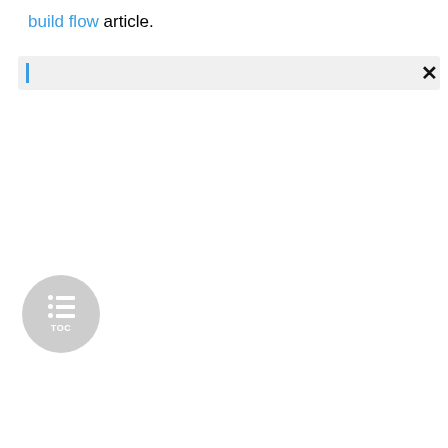build flow article.
[Figure (screenshot): A search input field with a blue cursor on the left and a gray background, with an X close button on the right]
[Figure (other): A circular TOC (Table of Contents) button with a list icon and TOC label, gray background]